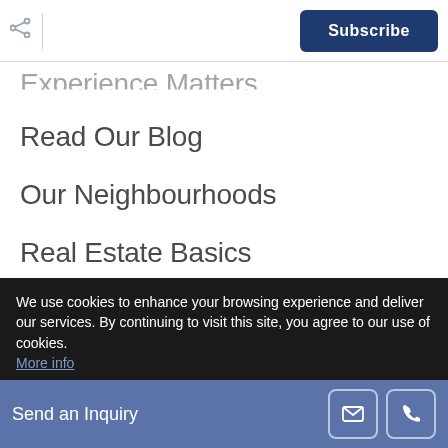Subscribe
Experience Matters
Read Our Blog
Our Neighbourhoods
Real Estate Basics
Why Sell With Us
Why Buy With Us
We use cookies to enhance your browsing experience and deliver our services. By continuing to visit this site, you agree to our use of cookies. More info
Send an Inquiry